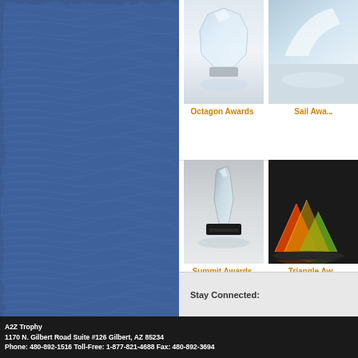[Figure (photo): Blue textured wave-patterned background panel on left side]
[Figure (photo): Octagon Awards - glass octagon trophy product image]
Octagon Awards
[Figure (photo): Sail Awards - partially visible award product image]
Sail Awa...
[Figure (photo): Summit Awards - glass/crystal sail-shaped award on black base]
Summit Awards
[Figure (photo): Triangle Awards - colorful geometric triangle shaped awards, partially visible]
Triangle Awa...
Stay Connected:
A2Z Trophy
1170 N. Gilbert Road Suite #126 Gilbert, AZ 85234
Phone: 480-892-1516 Toll-Free: 1-877-821-4688 Fax: 480-892-3694